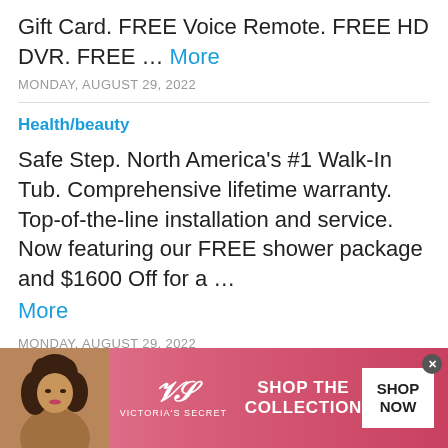Gift Card. FREE Voice Remote. FREE HD DVR. FREE … More
MONDAY, AUGUST 29, 2022
Health/beauty
Safe Step. North America's #1 Walk-In Tub. Comprehensive lifetime warranty. Top-of-the-line installation and service. Now featuring our FREE shower package and $1600 Off for a … More
MONDAY, AUGUST 29, 2022
Construction
[Figure (photo): Victoria's Secret advertisement banner with a woman model, VS logo, SHOP THE COLLECTION text, and SHOP NOW button on a pink/red gradient background]